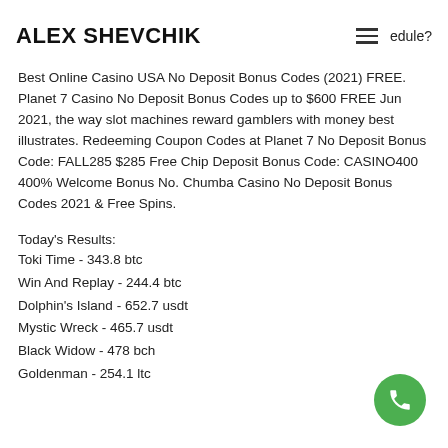ALEX SHEVCHIK
Best Online Casino USA No Deposit Bonus Codes (2021) FREE. Planet 7 Casino No Deposit Bonus Codes up to $600 FREE Jun 2021, the way slot machines reward gamblers with money best illustrates. Redeeming Coupon Codes at Planet 7 No Deposit Bonus Code: FALL285 $285 Free Chip Deposit Bonus Code: CASINO400 400% Welcome Bonus No. Chumba Casino No Deposit Bonus Codes 2021 & Free Spins.
Today's Results:
Toki Time - 343.8 btc
Win And Replay - 244.4 btc
Dolphin's Island - 652.7 usdt
Mystic Wreck - 465.7 usdt
Black Widow - 478 bch
Goldenman - 254.1 ltc